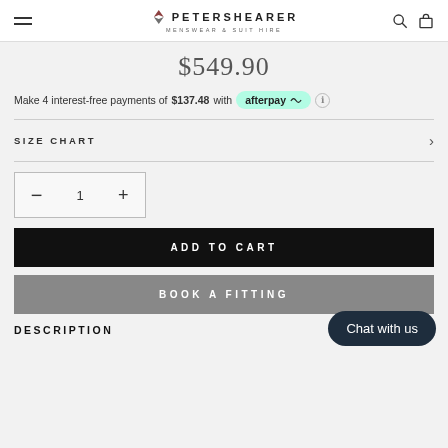PETERSHEARER MENSWEAR & SUIT HIRE
$549.90
Make 4 interest-free payments of $137.48 with afterpay
SIZE CHART
1
ADD TO CART
BOOK A FITTING
DESCRIPTION
Chat with us